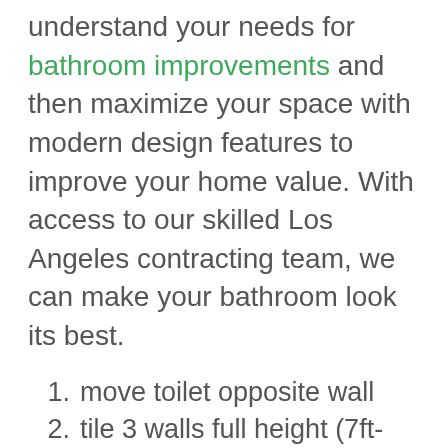understand your needs for bathroom improvements and then maximize your space with modern design features to improve your home value. With access to our skilled Los Angeles contracting team, we can make your bathroom look its best.
move toilet opposite wall
tile 3 walls full height (7ft-5in)
install a new walk-in shower